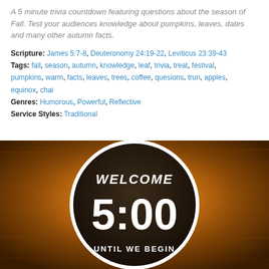A 5 minute trivia countdown featuring questions about the season of Fall. Test your audiences knowledge about pumpkins, leaves, dates and many other autumn facts.
Scripture: James 5:7-8, Deuteronomy 24:19-22, Leviticus 23:39-43
Tags: fall, season, autumn, knowledge, leaf, trivia, treat, festival, pumpkins, warm, facts, leaves, trees, coffee, quesions, trun, apples, equinox, chai
Genres: Humorous, Powerful, Reflective
Service Styles: Traditional
[Figure (photo): A dark circular countdown timer showing WELCOME 5:00 UNTIL WE BEGIN on an autumn-toned wooden background with warm orange and brown tones]